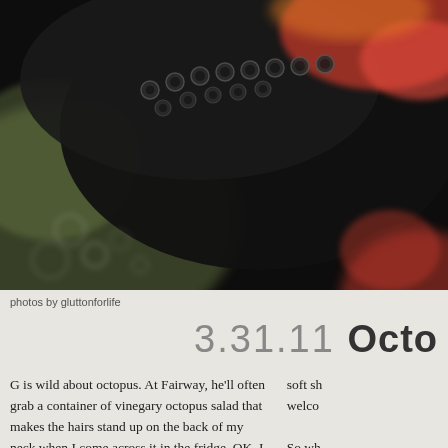[Figure (photo): Close-up macro photograph of octopus tentacles and suction cups, showing dark/black coloring with reddish-orange highlights and pale greenish areas, very blurry background]
photos by gluttonforlife
3.31.11  Octo
G is wild about octopus. At Fairway, he'll often grab a container of vinegary octopus salad that makes the hairs stand up on the back of my neck when I come across it in the fridge. OK, I admit it, I'm a bit of an octopussy. I find its alien appearance—the purply sheen, the suction cups, the
soft sh
welco

So wh
tenta